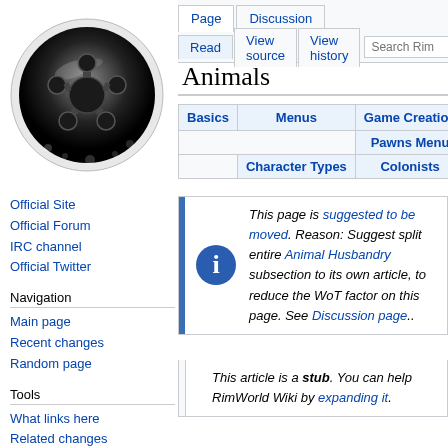Create account  Log in
[Figure (logo): RimWorld wiki circular logo with a star-like sheriff badge shape in black and white]
Official Site
Official Forum
IRC channel
Official Twitter
Navigation
Main page
Recent changes
Random page
Tools
What links here
Related changes
Special pages
Printable version
Permanent link
Page  Discussion  Read  View source  View history  Search Rim
Animals
| Basics | Menus | Game Creation | Gameplay |
| --- | --- | --- | --- |
|  |  | Pawns Menu | Character |
|  | Character Types | Colonists | Animals |
This page is suggested to be moved. Reason: Suggest split entire Animal Husbandry subsection to its own article, to reduce the WoT factor on this page. See Discussion page..
This article is a stub. You can help RimWorld Wiki by expanding it.